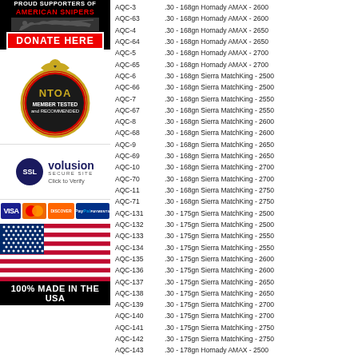[Figure (illustration): American Snipers support banner with soldier silhouette, red text, and Donate Here button]
[Figure (logo): NTOA Member Tested and Recommended badge with eagle logo]
[Figure (logo): SSL Volusion Secure Site with Click to Verify text]
[Figure (logo): Payment icons: VISA, Mastercard, Discover, PayPal]
[Figure (illustration): US Flag illustration]
100% MADE IN THE USA
AQC-3   .30 - 168gn Hornady AMAX - 2600
AQC-63  .30 - 168gn Hornady AMAX - 2600
AQC-4   .30 - 168gn Hornady AMAX - 2650
AQC-64  .30 - 168gn Hornady AMAX - 2650
AQC-5   .30 - 168gn Hornady AMAX - 2700
AQC-65  .30 - 168gn Hornady AMAX - 2700
AQC-6   .30 - 168gn Sierra MatchKing - 2500
AQC-66  .30 - 168gn Sierra MatchKing - 2500
AQC-7   .30 - 168gn Sierra MatchKing - 2550
AQC-67  .30 - 168gn Sierra MatchKing - 2550
AQC-8   .30 - 168gn Sierra MatchKing - 2600
AQC-68  .30 - 168gn Sierra MatchKing - 2600
AQC-9   .30 - 168gn Sierra MatchKing - 2650
AQC-69  .30 - 168gn Sierra MatchKing - 2650
AQC-10  .30 - 168gn Sierra MatchKing - 2700
AQC-70  .30 - 168gn Sierra MatchKing - 2700
AQC-11  .30 - 168gn Sierra MatchKing - 2750
AQC-71  .30 - 168gn Sierra MatchKing - 2750
AQC-131 .30 - 175gn Sierra MatchKing - 2500
AQC-132 .30 - 175gn Sierra MatchKing - 2500
AQC-133 .30 - 175gn Sierra MatchKing - 2550
AQC-134 .30 - 175gn Sierra MatchKing - 2550
AQC-135 .30 - 175gn Sierra MatchKing - 2600
AQC-136 .30 - 175gn Sierra MatchKing - 2600
AQC-137 .30 - 175gn Sierra MatchKing - 2650
AQC-138 .30 - 175gn Sierra MatchKing - 2650
AQC-139 .30 - 175gn Sierra MatchKing - 2700
AQC-140 .30 - 175gn Sierra MatchKing - 2700
AQC-141 .30 - 175gn Sierra MatchKing - 2750
AQC-142 .30 - 175gn Sierra MatchKing - 2750
AQC-143 .30 - 178gn Hornady AMAX - 2500
AQC-144 .30 - 178gn Hornady AMAX - 2500
AQC-145 .30 - 178gn Hornady AMAX - 2550
AQC-146 .30 - 178gn Hornady AMAX - 2550
AQC-147 .30 - 178gn Hornady AMAX - 2600
AQC-148 .30 - 178gn Hornady AMAX - 2600
AQC-149 .30 - 178gn Hornady AMAX - 2650